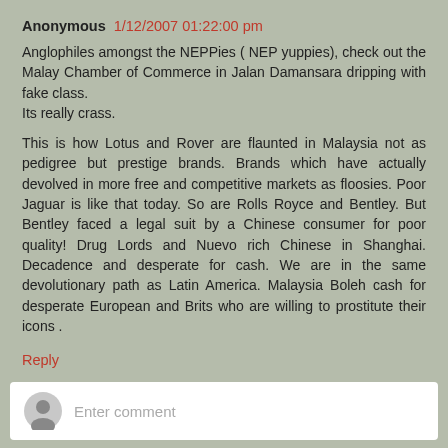Anonymous 1/12/2007 01:22:00 pm
Anglophiles amongst the NEPPies ( NEP yuppies), check out the Malay Chamber of Commerce in Jalan Damansara dripping with fake class.
Its really crass.

This is how Lotus and Rover are flaunted in Malaysia not as pedigree but prestige brands. Brands which have actually devolved in more free and competitive markets as floosies. Poor Jaguar is like that today. So are Rolls Royce and Bentley. But Bentley faced a legal suit by a Chinese consumer for poor quality! Drug Lords and Nuevo rich Chinese in Shanghai. Decadence and desperate for cash. We are in the same devolutionary path as Latin America. Malaysia Boleh cash for desperate European and Brits who are willing to prostitute their icons .
Reply
Enter comment